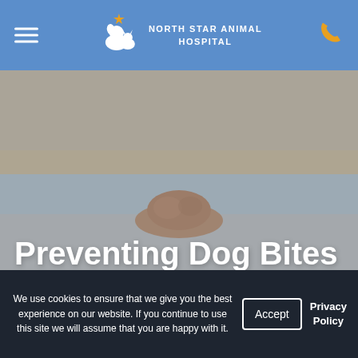NORTH STAR ANIMAL HOSPITAL
[Figure (photo): A golden retriever dog peeking just above a flat surface with a beach/waterfront scene in the background at dusk]
Preventing Dog Bites
April 1, 2021
We use cookies to ensure that we give you the best experience on our website. If you continue to use this site we will assume that you are happy with it.
Accept
Privacy Policy